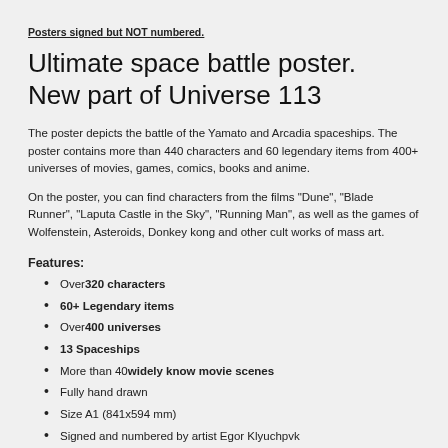Posters signed but NOT numbered.
Ultimate space battle poster. New part of Universe 113
The poster depicts the battle of the Yamato and Arcadia spaceships. The poster contains more than 440 characters and 60 legendary items from 400+ universes of movies, games, comics, books and anime.
On the poster, you can find characters from the films "Dune", "Blade Runner", "Laputa Castle in the Sky", "Running Man", as well as the games of Wolfenstein, Asteroids, Donkey kong and other cult works of mass art.
Features:
Over 320 characters
60+ Legendary items
Over 400 universes
13 Spaceships
More than 40 widely know movie scenes
Fully hand drawn
Size A1 (841x594 mm)
Signed and numbered by artist Egor Klyuchpvk